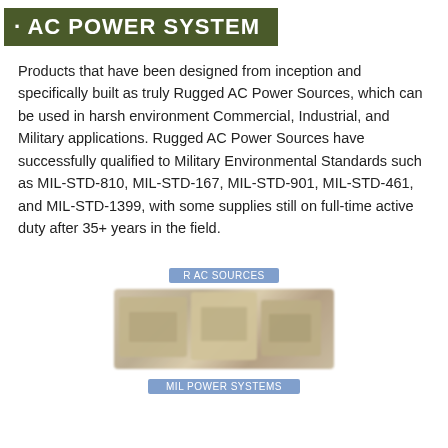AC POWER SYSTEM
Products that have been designed from inception and specifically built as truly Rugged AC Power Sources, which can be used in harsh environment Commercial, Industrial, and Military applications. Rugged AC Power Sources have successfully qualified to Military Environmental Standards such as MIL-STD-810, MIL-STD-167, MIL-STD-901, MIL-STD-461, and MIL-STD-1399, with some supplies still on full-time active duty after 35+ years in the field.
[Figure (photo): Photograph of rugged AC power supply units, military-grade hardware, olive/tan colored box units shown with labels]
R AC SOURCES
MIL POWER SYSTEMS